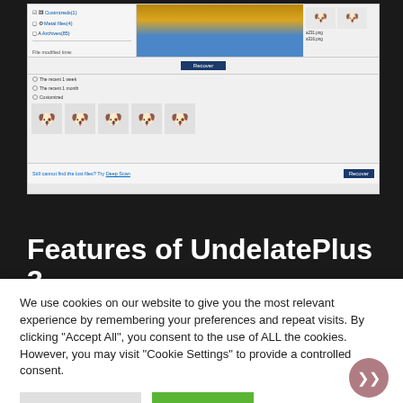[Figure (screenshot): Screenshot of UndeleletePlus 3 software UI showing file recovery interface with dog photo and thumbnail images]
Features of UndelatePlus 3
An awesome file and data recovery software program
Retrieves lost files from the hard drives, USB thumb drives, SD
We use cookies on our website to give you the most relevant experience by remembering your preferences and repeat visits. By clicking "Accept All", you consent to the use of ALL the cookies. However, you may visit "Cookie Settings" to provide a controlled consent.